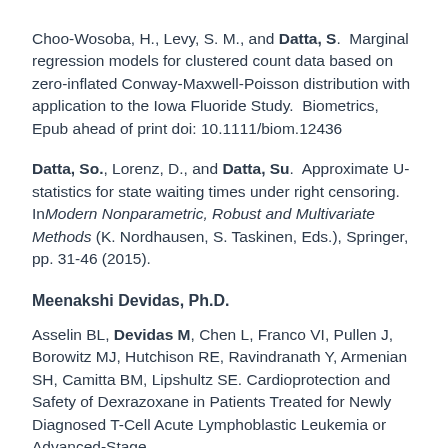Choo-Wosoba, H., Levy, S. M., and Datta, S.  Marginal regression models for clustered count data based on zero-inflated Conway-Maxwell-Poisson distribution with application to the Iowa Fluoride Study.  Biometrics, Epub ahead of print doi: 10.1111/biom.12436
Datta, So., Lorenz, D., and Datta, Su.  Approximate U-statistics for state waiting times under right censoring.  In Modern Nonparametric, Robust and Multivariate Methods (K. Nordhausen, S. Taskinen, Eds.), Springer, pp. 31-46 (2015).
Meenakshi Devidas, Ph.D.
Asselin BL, Devidas M, Chen L, Franco VI, Pullen J, Borowitz MJ, Hutchison RE, Ravindranath Y, Armenian SH, Camitta BM, Lipshultz SE. Cardioprotection and Safety of Dexrazoxane in Patients Treated for Newly Diagnosed T-Cell Acute Lymphoblastic Leukemia or Advanced-Stage